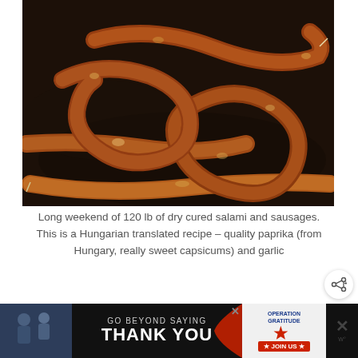[Figure (photo): Photo of dry cured salami and sausages coiled on a dark surface]
Long weekend of 120 lb of dry cured salami and sausages.
This is a Hungarian translated recipe – quality paprika (from Hungary, really sweet capsicums) and garlic
Type A – Dry Cured Salami
The power of salt is used for curing the meat,
[Figure (photo): Advertisement banner: GO BEYOND SAYING THANK YOU – Operation Gratitude JOIN US]